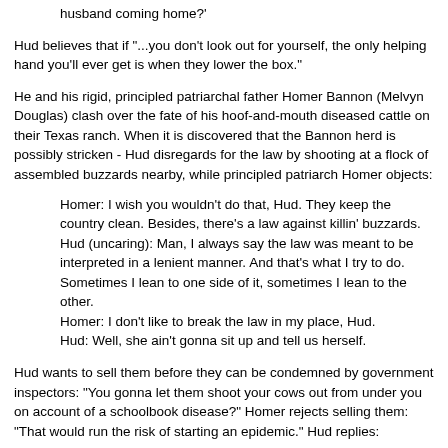husband coming home?'
Hud believes that if "...you don't look out for yourself, the only helping hand you'll ever get is when they lower the box."
He and his rigid, principled patriarchal father Homer Bannon (Melvyn Douglas) clash over the fate of his hoof-and-mouth diseased cattle on their Texas ranch. When it is discovered that the Bannon herd is possibly stricken - Hud disregards for the law by shooting at a flock of assembled buzzards nearby, while principled patriarch Homer objects:
Homer: I wish you wouldn't do that, Hud. They keep the country clean. Besides, there's a law against killin' buzzards. Hud (uncaring): Man, I always say the law was meant to be interpreted in a lenient manner. And that's what I try to do. Sometimes I lean to one side of it, sometimes I lean to the other.
Homer: I don't like to break the law in my place, Hud.
Hud: Well, she ain't gonna sit up and tell us herself.
Hud wants to sell them before they can be condemned by government inspectors: "You gonna let them shoot your cows out from under you on account of a schoolbook disease?" Homer rejects selling them: "That would run the risk of starting an epidemic." Hud replies: